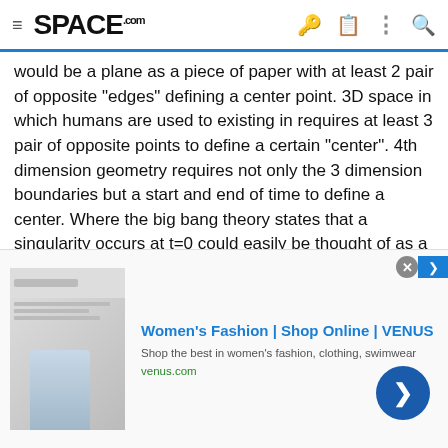SPACE.com
would be a plane as a piece of paper with at least 2 pair of opposite "edges" defining a center point. 3D space in which humans are used to existing in requires at least 3 pair of opposite points to define a certain "center". 4th dimension geometry requires not only the 3 dimension boundaries but a start and end of time to define a center. Where the big bang theory states that a singularity occurs at t=0 could easily be thought of as a start of time but there is no prediction of time ending to define a center.
Back to the dark flow... if there is a point somewhere in space where galaxy clusters are converging on, could that not be considered the center of the universe?
[Figure (screenshot): Advertisement banner for Women's Fashion at VENUS (venus.com) with an image of a woman and a blue circle arrow button]